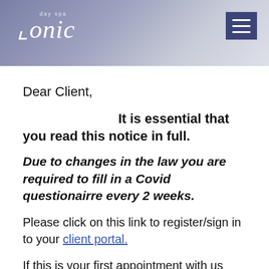Tonic day spa
Dear Client,
It is essential that you read this notice in full.
Due to changes in the law you are required to fill in a Covid questionairre every 2 weeks.
Please click on this link to register/sign in to your client portal.
If this is your first appointment with us please select: